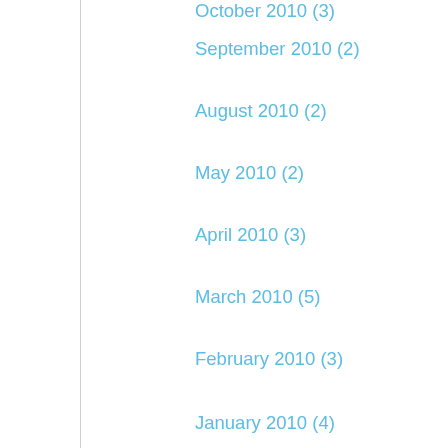October 2010 (3)
September 2010 (2)
August 2010 (2)
May 2010 (2)
April 2010 (3)
March 2010 (5)
February 2010 (3)
January 2010 (4)
December 2009 (5)
November 2009 (5)
October 2009 (7)
September 2009 (10)
August 2009 (11)
July 2009 (6)
April 2009 (1)
March 2009 (1)
February 2009 (1)